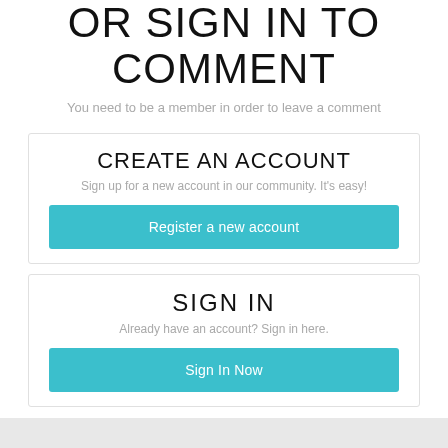OR SIGN IN TO COMMENT
You need to be a member in order to leave a comment
CREATE AN ACCOUNT
Sign up for a new account in our community. It's easy!
Register a new account
SIGN IN
Already have an account? Sign in here.
Sign In Now